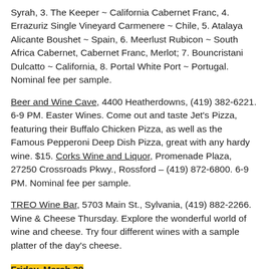Syrah, 3. The Keeper ~ California Cabernet Franc, 4. Errazuriz Single Vineyard Carmenere ~ Chile, 5. Atalaya Alicante Boushet ~ Spain, 6. Meerlust Rubicon ~ South Africa Cabernet, Cabernet Franc, Merlot; 7. Bouncristani Dulcatto ~ California, 8. Portal White Port ~ Portugal. Nominal fee per sample.
Beer and Wine Cave, 4400 Heatherdowns, (419) 382-6221. 6-9 PM. Easter Wines. Come out and taste Jet's Pizza, featuring their Buffalo Chicken Pizza, as well as the Famous Pepperoni Deep Dish Pizza, great with any hardy wine. $15. Corks Wine and Liquor, Promenade Plaza, 27250 Crossroads Pkwy., Rossford – (419) 872-6800. 6-9 PM. Nominal fee per sample.
TREO Wine Bar, 5703 Main St., Sylvania, (419) 882-2266. Wine & Cheese Thursday. Explore the wonderful world of wine and cheese. Try four different wines with a sample platter of the day's cheese.
Friday, March 30
Aficionado Wine and Cigars, The Shoppes at RiverPlace,